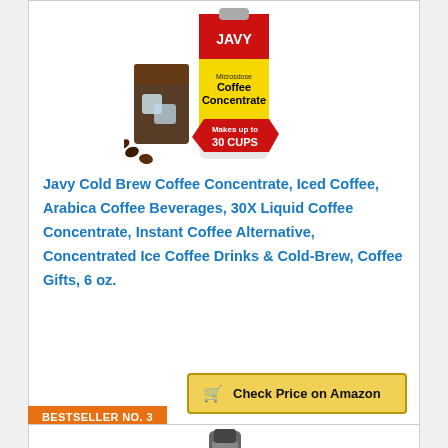[Figure (photo): Javy Cold Brew Coffee Concentrate bottle with yellow label showing '30 CUPS', surrounded by ice cubes, coffee beans, and a glass of iced coffee]
Javy Cold Brew Coffee Concentrate, Iced Coffee, Arabica Coffee Beverages, 30X Liquid Coffee Concentrate, Instant Coffee Alternative, Concentrated Ice Coffee Drinks & Cold-Brew, Coffee Gifts, 6 oz.
Check Price on Amazon
BESTSELLER NO. 3
[Figure (photo): Second product - cold brew coffee concentrate bottle, partially visible at bottom of page]